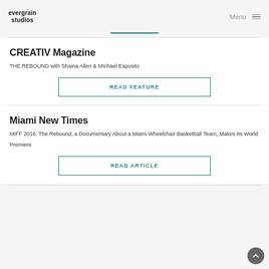evergrain studios | Menu
CREATIV Magazine
THE REBOUND with Shaina Allen & MIchael Esposito
READ FEATURE
Miami New Times
MIFF 2016: The Rebound, a Documentary About a Miami Wheelchair Basketball Team, Makes Its World Premiere
READ ARTICLE